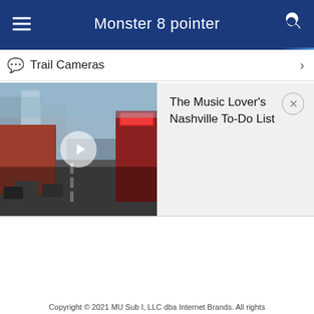Monster 8 pointer
Trail Cameras
[Figure (photo): Aerial view of a city street (Nashville) with buildings, a road, and a red neon sign, with a play button overlay indicating a video thumbnail]
The Music Lover's Nashville To-Do List
Copyright © 2021 MU Sub I, LLC dba Internet Brands. All rights